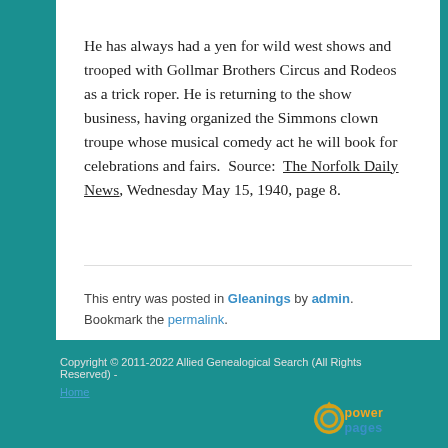He has always had a yen for wild west shows and trooped with Gollmar Brothers Circus and Rodeos as a trick roper. He is returning to the show business, having organized the Simmons clown troupe whose musical comedy act he will book for celebrations and fairs.  Source:  The Norfolk Daily News, Wednesday May 15, 1940, page 8.
This entry was posted in Gleanings by admin. Bookmark the permalink.
Proudly powered by WordPress
Copyright © 2011-2022 Allied Genealogical Search (All Rights Reserved) -